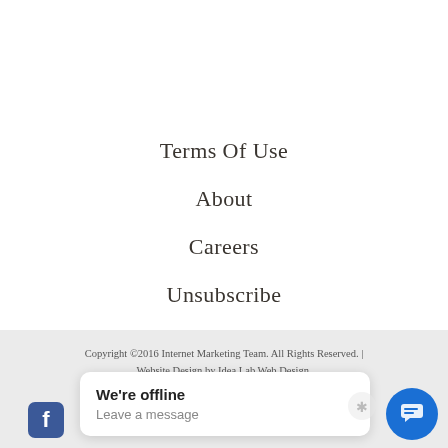Terms Of Use
About
Careers
Unsubscribe
Copyright © 2016 Internet Marketing Team. All Rights Reserved. | Website Design by Idea Lab Web Design.
[Figure (screenshot): Chat widget overlay showing 'We're offline / Leave a message' with a blue chat button icon on the right, and a Facebook icon and Yelp icon in the footer area.]